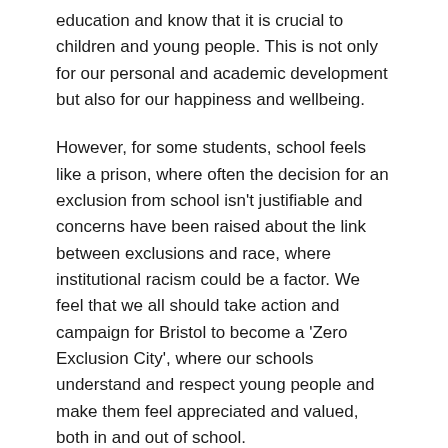education and know that it is crucial to children and young people. This is not only for our personal and academic development but also for our happiness and wellbeing.
However, for some students, school feels like a prison, where often the decision for an exclusion from school isn't justifiable and concerns have been raised about the link between exclusions and race, where institutional racism could be a factor. We feel that we all should take action and campaign for Bristol to become a 'Zero Exclusion City', where our schools understand and respect young people and make them feel appreciated and valued, both in and out of school.
What does it mean to be a 'Zero Exclusion City'?
It means to be a city that doesn't give up on young people. A city that sees the best in our young people, even in the